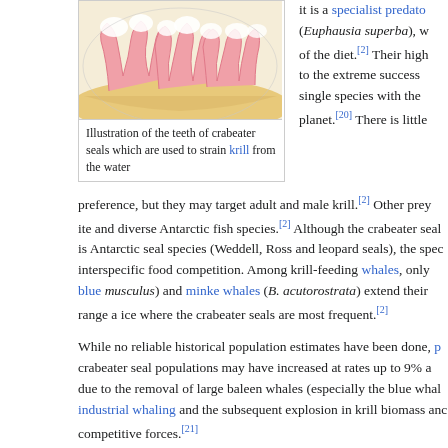[Figure (illustration): Illustration of crabeater seal teeth used to strain krill, showing pink coral-like tooth structures against a tan/beige background]
Illustration of the teeth of crabeater seals which are used to strain krill from the water
it is a specialist predator (Euphausia superba), w of the diet.[2] Their high to the extreme success single species with the planet.[20] There is little
preference, but they may target adult and male krill.[2] Other prey ite and diverse Antarctic fish species.[2] Although the crabeater seal is Antarctic seal species (Weddell, Ross and leopard seals), the spec interspecific food competition. Among krill-feeding whales, only blue musculus) and minke whales (B. acutorostrata) extend their range a ice where the crabeater seals are most frequent.[2]
While no reliable historical population estimates have been done, p crabeater seal populations may have increased at rates up to 9% a due to the removal of large baleen whales (especially the blue whal industrial whaling and the subsequent explosion in krill biomass anc competitive forces.[21]
Predation